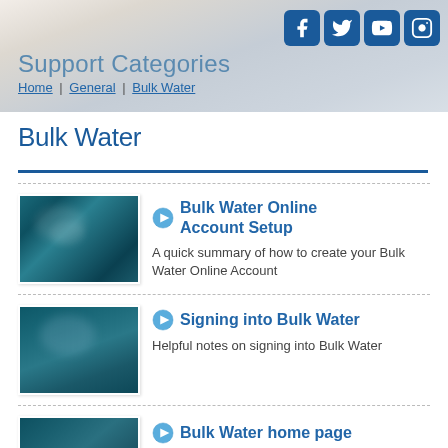[Figure (screenshot): Header banner with underwater/sky background and social media icons (Facebook, Twitter, YouTube, Instagram)]
Support Categories
Home | General | Bulk Water
Bulk Water
Bulk Water Online Account Setup — A quick summary of how to create your Bulk Water Online Account
Signing into Bulk Water — Helpful notes on signing into Bulk Water
Bulk Water home page